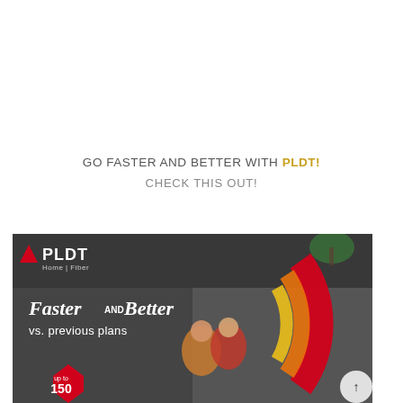GO FASTER AND BETTER WITH PLDT! CHECK THIS OUT!
[Figure (illustration): PLDT Home Fiber advertisement banner showing 'Faster AND Better vs. previous plans' with two people inside colorful arches and a red badge reading 'up to 150', PLDT logo top left.]